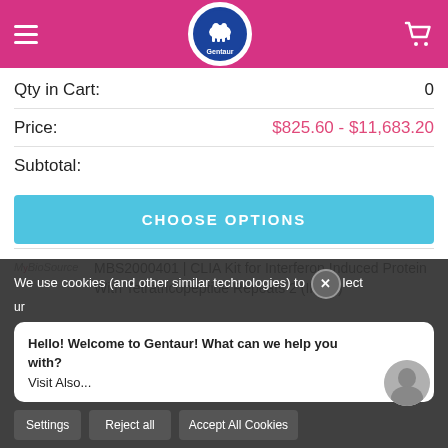[Figure (logo): Gentaur website header with pink background, hamburger menu, Gentaur circular logo, and shopping cart icon]
Qty in Cart:	0
Price:	$825.60 - $11,683.20
Subtotal:
CHOOSE OPTIONS
MBS2000401 | CLIA Kit for Interferon Induced Protein With Tetratricopeptide Repeats 2 (IFIT2)
We use cookies (and other similar technologies) to collect
Hello! Welcome to Gentaur! What can we help you with?
Visit Also...
Settings	Reject all	Accept All Cookies